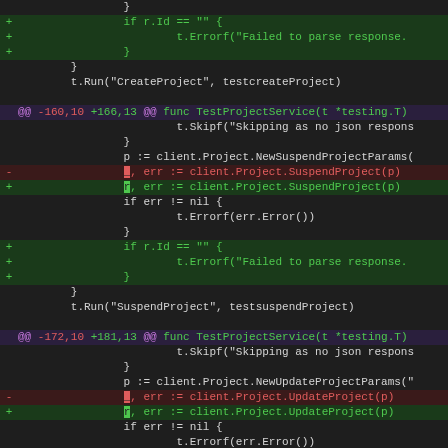[Figure (screenshot): Code diff view showing Git diff output for Go test file with added lines for r.Id check and error handling, two hunk headers for TestProjectService function at lines -160,10+166,13 and -172,10+181,13, with red deleted lines and green added lines in a dark theme code editor.]